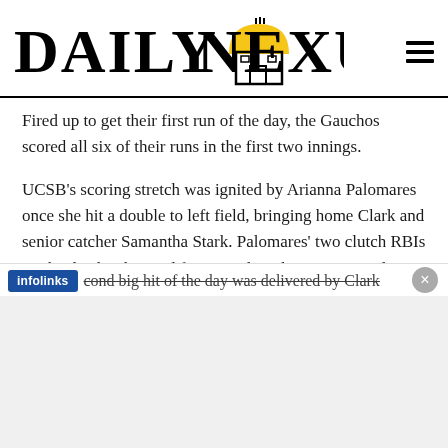DAILY NEXUS
Fired up to get their first run of the day, the Gauchos scored all six of their runs in the first two innings.
UCSB's scoring stretch was ignited by Arianna Palomares once she hit a double to left field, bringing home Clark and senior catcher Samantha Stark. Palomares' two clutch RBIs on the day has her tied for second on the team in total RBIs with 26, along with sophomore outfielder Jessica Johnston.
cond big hit of the day was delivered by Clark